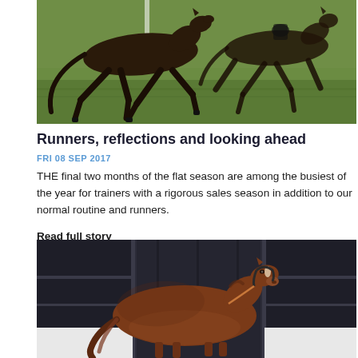[Figure (photo): Two dark bay horses galloping on green grass, legs extended mid-stride, photographed from the side.]
Runners, reflections and looking ahead
FRI 08 SEP 2017
THE final two months of the flat season are among the busiest of the year for trainers with a rigorous sales season in addition to our normal routine and runners.
Read full story
[Figure (photo): A chestnut horse standing in front of dark stable doors, wearing a bridle, viewed from the side.]